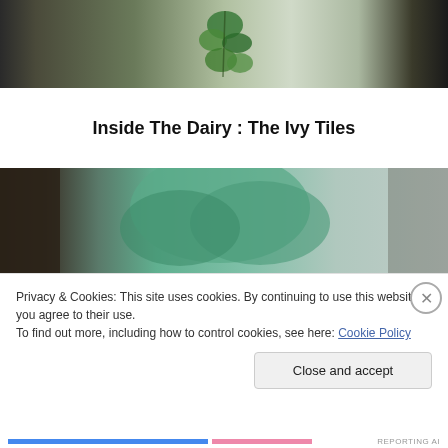[Figure (photo): Top photograph showing ivy vines on white tiles with dark curtains on the sides]
Inside The Dairy : The Ivy Tiles
[Figure (photo): Bottom photograph showing a close-up of green ivy leaves against a grey background]
Privacy & Cookies: This site uses cookies. By continuing to use this website, you agree to their use.
To find out more, including how to control cookies, see here: Cookie Policy
Close and accept